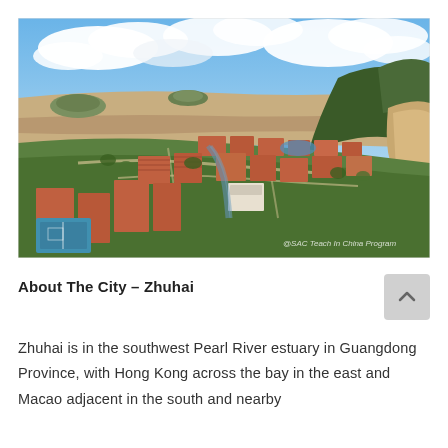[Figure (photo): Aerial panoramic photo of a university campus in Zhuhai, China, showing multiple red-brick academic buildings, green lawns, sports courts, a river or canal, and the Pearl River estuary with muddy brown water and islands in the background under a blue sky with white clouds. A watermark reads '@SAC Teach In China Program'.]
About The City – Zhuhai
Zhuhai is in the southwest Pearl River estuary in Guangdong Province, with Hong Kong across the bay in the east and Macao adjacent in the south and nearby